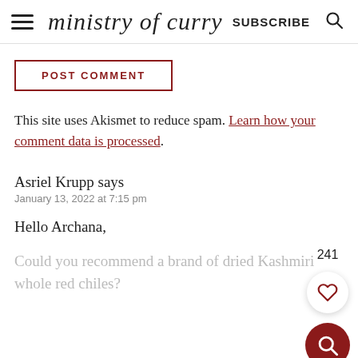ministry of curry  SUBSCRIBE
POST COMMENT
This site uses Akismet to reduce spam. Learn how your comment data is processed.
Asriel Krupp says
January 13, 2022 at 7:15 pm

Hello Archana,

Could you recommend a brand of dried Kashmiri whole red chiles?